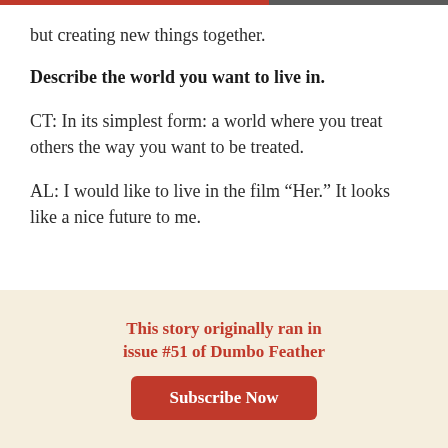but creating new things together.
Describe the world you want to live in.
CT: In its simplest form: a world where you treat others the way you want to be treated.
AL: I would like to live in the film “Her.” It looks like a nice future to me.
This story originally ran in issue #51 of Dumbo Feather
Subscribe Now